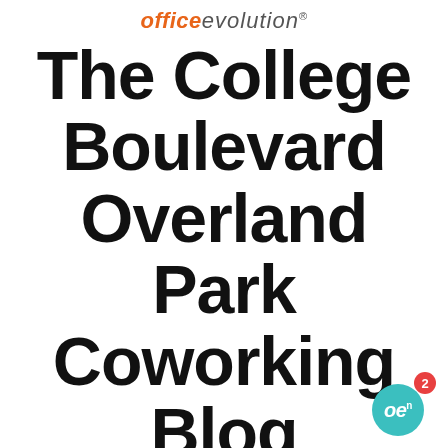office evolution
The College Boulevard Overland Park Coworking Blog
[Figure (logo): Office Evolution branded badge/icon with teal circle, 'oe' text, superscript 'n', and red notification badge showing '2']